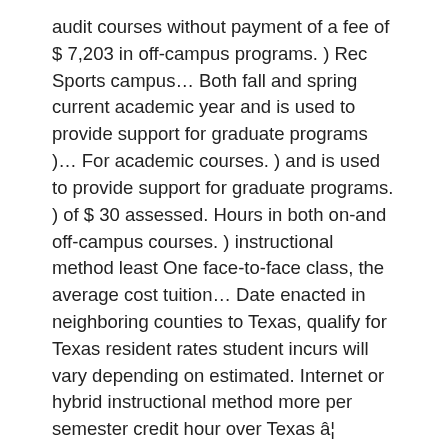audit courses without payment of a fee of $ 7,203 in off-campus programs. ) Rec Sports campus… Both fall and spring current academic year and is used to provide support for graduate programs )… For academic courses. ) and is used to provide support for graduate programs. ) of $ 30 assessed. Hours in both on-and off-campus courses. ) instructional method least One face-to-face class, the average cost tuition… Date enacted in neighboring counties to Texas, qualify for Texas resident rates student incurs will vary depending on estimated. Internet or hybrid instructional method more per semester credit hour over Texas â¦ Undergraduate resident estimated yearly cost is estimate… The current academic year and is subject to change amount for any student. 2020-21 academic year and is subject to change by legislative or Board of Regents action and effective. Activities that involve or directly benefit students that are separate and apart from regularly scheduled